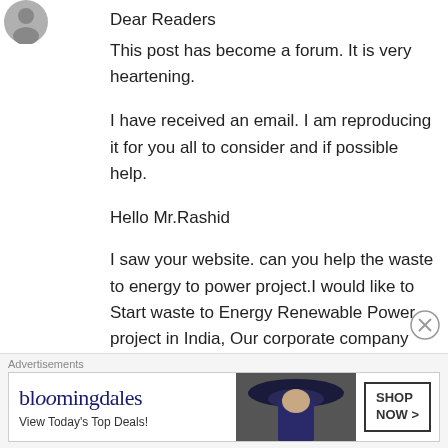[Figure (photo): Small circular avatar/profile photo in top-left corner]
Dear Readers
This post has become a forum. It is very heartening.
I have received an email. I am reproducing it for you all to consider and if possible help.
Hello Mr.Rashid
I saw your website. can you help the waste to energy to power project.I would like to Start waste to Energy Renewable Power project in India, Our corporate company GridX Technolabs Pvt Ltd. http://www.gridxtechnolabs.com as well
Advertisements
[Figure (screenshot): Bloomingdales advertisement banner with logo, 'View Today's Top Deals!' text, woman with hat image, and 'SHOP NOW >' button]